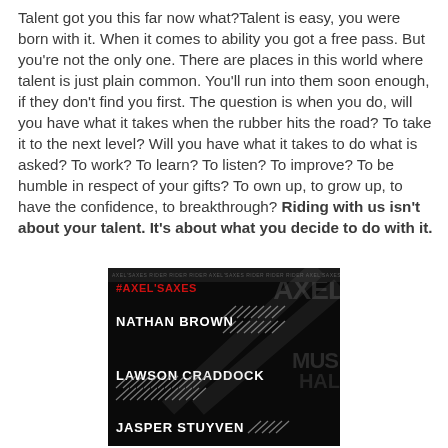Talent got you this far now what?Talent is easy, you were born with it. When it comes to ability you got a free pass. But you're not the only one. There are places in this world where talent is just plain common. You'll run into them soon enough, if they don't find you first. The question is when you do, will you have what it takes when the rubber hits the road? To take it to the next level? Will you have what it takes to do what is asked? To work? To learn? To listen? To improve? To be humble in respect of your gifts? To own up, to grow up, to have the confidence, to breakthrough? Riding with us isn't about your talent. It's about what you decide to do with it.
[Figure (photo): Dark promotional image with red text '#AXEL'SAXES' at top, listing riders: NATHAN BROWN, LAWSON CRADDOCK, JASPER STUYVEN with diagonal nail/pin graphics on black background]